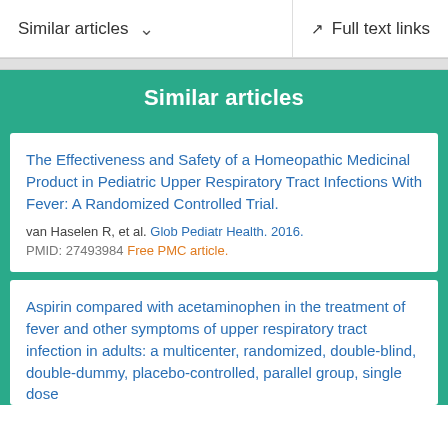Similar articles   Full text links
Similar articles
The Effectiveness and Safety of a Homeopathic Medicinal Product in Pediatric Upper Respiratory Tract Infections With Fever: A Randomized Controlled Trial.
van Haselen R, et al. Glob Pediatr Health. 2016.
PMID: 27493984 Free PMC article.
Aspirin compared with acetaminophen in the treatment of fever and other symptoms of upper respiratory tract infection in adults: a multicenter, randomized, double-blind, double-dummy, placebo-controlled, parallel group, single dose…